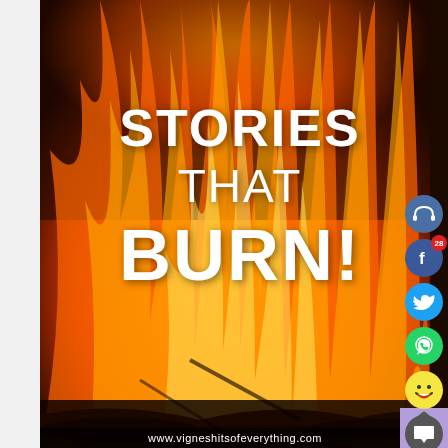[Figure (photo): Large fire/burning flames photograph used as background for book/article cover titled 'Stories That Burn!']
STORIES THAT BURN!
www.vigneshitsofeverything.com